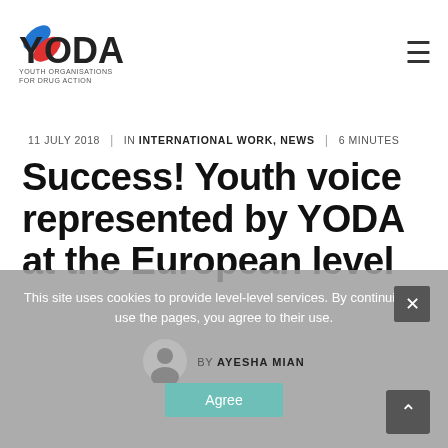[Figure (logo): YODA - Youth Organisations for Drug Action logo with pill icon]
11 JULY 2018  |  IN INTERNATIONAL WORK, NEWS  |  6 MINUTES
Success! Youth voice represented by YODA at the European level
This site uses cookies to provide level-level services. By continuing to use the pages, you agree to their use.
BY AYESHA MIAN